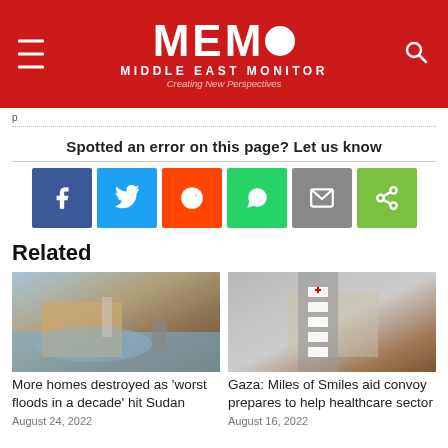MEMO MIDDLE EAST MONITOR — Creating New Perspectives
Spotted an error on this page? Let us know
[Figure (infographic): Social sharing buttons: Facebook (blue), Twitter (light blue), Reddit (orange), WhatsApp (green), Email (grey), Share (green)]
Related
[Figure (photo): People with belongings on a cart near floodwater in Sudan]
More homes destroyed as 'worst floods in a decade' hit Sudan
August 24, 2022
[Figure (photo): Aerial view of ambulances and vehicles in a convoy on a road in Gaza]
Gaza: Miles of Smiles aid convoy prepares to help healthcare sector
August 16, 2022